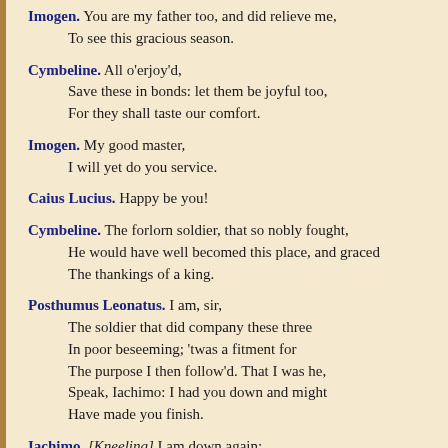Imogen. You are my father too, and did relieve me, To see this gracious season.
Cymbeline. All o'erjoy'd, Save these in bonds: let them be joyful too, For they shall taste our comfort.
Imogen. My good master, I will yet do you service.
Caius Lucius. Happy be you!
Cymbeline. The forlorn soldier, that so nobly fought, He would have well becomed this place, and graced The thankings of a king.
Posthumus Leonatus. I am, sir, The soldier that did company these three In poor beseeming; 'twas a fitment for The purpose I then follow'd. That I was he, Speak, Iachimo: I had you down and might Have made you finish.
Iachimo. [Kneeling] I am down again: But now my heavy conscience sinks my knee, As then your force did. Take that life, beseech you, Which I so often owe: but your ring first; And here the bracelet of the truest princess